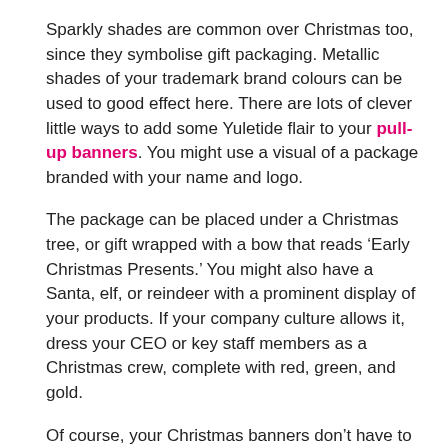Sparkly shades are common over Christmas too, since they symbolise gift packaging. Metallic shades of your trademark brand colours can be used to good effect here. There are lots of clever little ways to add some Yuletide flair to your pull-up banners. You might use a visual of a package branded with your name and logo.
The package can be placed under a Christmas tree, or gift wrapped with a bow that reads ‘Early Christmas Presents.’ You might also have a Santa, elf, or reindeer with a prominent display of your products. If your company culture allows it, dress your CEO or key staff members as a Christmas crew, complete with red, green, and gold.
Of course, your Christmas banners don’t have to be quite so direct. Subliminal messaging can be just as effective. Have a model drinking hot chocolate out of a mug with a snowman on it. Or have the model wear a scarf embroidered with holly branches or candy canes.
Play around with the wardrobe of your banner models. They could